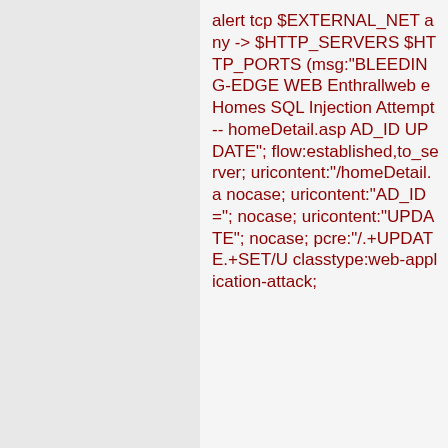alert tcp $EXTERNAL_NET any -> $HTTP_SERVERS $HTTP_PORTS (msg:"BLEEDING-EDGE WEB Enthrallweb eHomes SQL Injection Attempt -- homeDetail.asp AD_ID UPDATE"; flow:established,to_server; uricontent:"/homeDetail.asp"; nocase; uricontent:"AD_ID="; nocase; uricontent:"UPDATE"; nocase; pcre:"/.+UPDATE.+SET/U; classtype:web-application-attack;